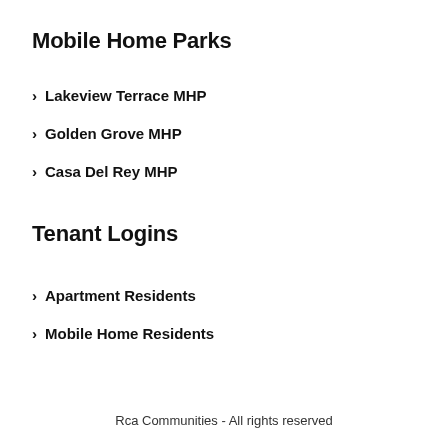Mobile Home Parks
› Lakeview Terrace MHP
› Golden Grove MHP
› Casa Del Rey MHP
Tenant Logins
› Apartment Residents
› Mobile Home Residents
Rca Communities - All rights reserved